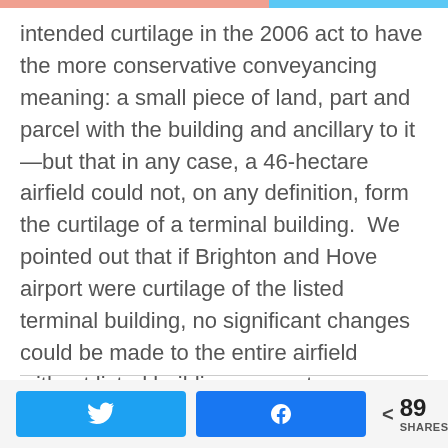intended curtilage in the 2006 act to have the more conservative conveyancing meaning: a small piece of land, part and parcel with the building and ancillary to it—but that in any case, a 46-hectare airfield could not, on any definition, form the curtilage of a terminal building.  We pointed out that if Brighton and Hove airport were curtilage of the listed terminal building, no significant changes could be made to the entire airfield without listed building consent.
In his decision, the inspector relied heavily